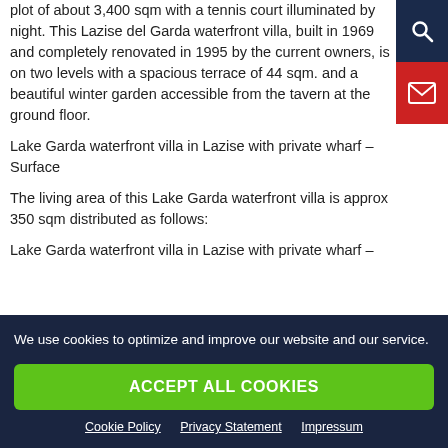plot of about 3,400 sqm with a tennis court illuminated by night. This Lazise del Garda waterfront villa, built in 1969 and completely renovated in 1995 by the current owners, is on two levels with a spacious terrace of 44 sqm. and a beautiful winter garden accessible from the tavern at the ground floor.
Lake Garda waterfront villa in Lazise with private wharf – Surface
The living area of this Lake Garda waterfront villa is approx 350 sqm distributed as follows:
Lake Garda waterfront villa in Lazise with private wharf –
We use cookies to optimize and improve our website and our service.
ACCEPT ALL COOKIES
Cookie Policy  Privacy Statement  Impressum